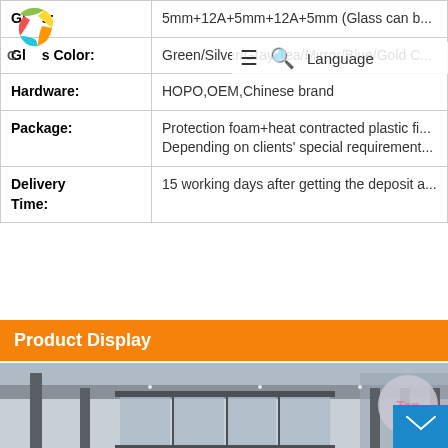| Property | Value |
| --- | --- |
| Glass: | 5mm+12A+5mm+12A+5mm (Glass can b... |
| Glass Color: | Green/Silver/Gray/Tea/Mirror/Blue/Gold C... |
| Hardware: | HOPO,OEM,Chinese brand |
| Package: | Protection foam+heat contracted plastic fi... Depending on clients' special requirement... |
| Delivery Time: | 15 working days after getting the deposit a... |
Product Display
[Figure (photo): Photograph of aluminum sliding/folding glass doors on a modern building exterior, showing dark grey frames with glass panels and architectural canopy]